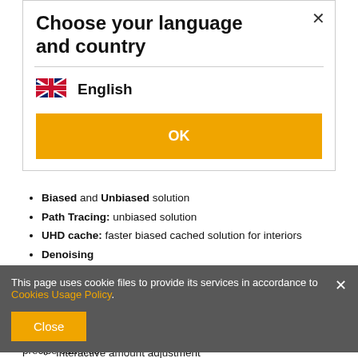Choose your language and country
[Figure (screenshot): UK flag icon next to 'English' language selection]
English
OK
Biased and Unbiased solution
Path Tracing: unbiased solution
UHD cache: faster biased cached solution for interiors
Denoising
Reduces the number of passes needed to get a noise-free image, with render time reductions of 50 to 70%
NVIDIA AI GPU–based denoising can be used for final renders at the user's discretion (requires a compatible NVIDIA GPU)
Interactive amount adjustment
Adaptive Image Sampling
This page uses cookie files to provide its services in accordance to Cookies Usage Policy.
Close
precise caustics